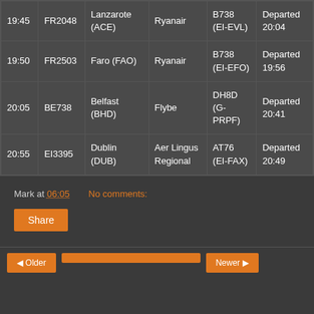| Time | Flight | Destination | Airline | Aircraft | Status |
| --- | --- | --- | --- | --- | --- |
| 19:45 | FR2048 | Lanzarote (ACE) | Ryanair | B738 (EI-EVL) | Departed 20:04 |
| 19:50 | FR2503 | Faro (FAO) | Ryanair | B738 (EI-EFO) | Departed 19:56 |
| 20:05 | BE738 | Belfast (BHD) | Flybe | DH8D (G-PRPF) | Departed 20:41 |
| 20:55 | EI3395 | Dublin (DUB) | Aer Lingus Regional | AT76 (EI-FAX) | Departed 20:49 |
Mark at 06:05    No comments:
Share